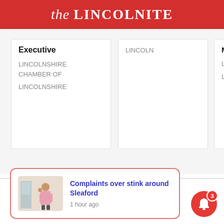the LINCOLNITE
Executive
LINCOLNSHIRE CHAMBER OF
LINCOLNSHIRE
LINCOLN
Ma
LINC
LINC
Complaints over stink around Sleaford
1 hour ago